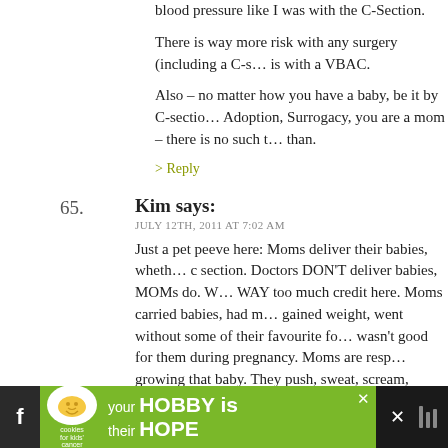blood pressure like I was with the C-Section.
There is way more risk with any surgery (including a C-s... is with a VBAC.
Also – no matter how you have a baby, be it by C-section, Adoption, Surrogacy, you are a mom – there is no such thing... than.
> Reply
65. Kim says: JULY 12TH, 2011 AT 7:02 AM
Just a pet peeve here: Moms deliver their babies, whether by c section. Doctors DON'T deliver babies, MOMs do. We WAY too much credit here. Moms carried babies, had m... gained weight, went without some of their favourite foo... wasn't good for them during pregnancy. Moms are resp... growing that baby. They push, sweat, scream, undergo a... of pain or sometimes make the decision to undergo sur... doctor lifts the baby from their stomach.
[Figure (screenshot): Advertisement banner at the bottom: green background with Cookies for Kids' Cancer logo and text 'your HOBBY is their HOPE']